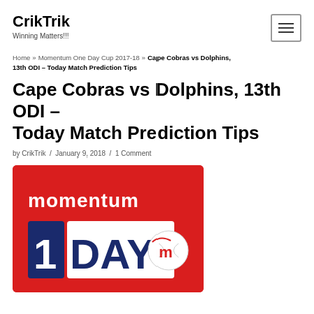CrikTrik
Winning Matters!!!
Home » Momentum One Day Cup 2017-18 » Cape Cobras vs Dolphins, 13th ODI – Today Match Prediction Tips
Cape Cobras vs Dolphins, 13th ODI – Today Match Prediction Tips
by CrikTrik / January 9, 2018 / 1 Comment
[Figure (photo): Momentum One Day Cup logo with red background showing '1 DAY' text and cricket ball with 'm' logo]